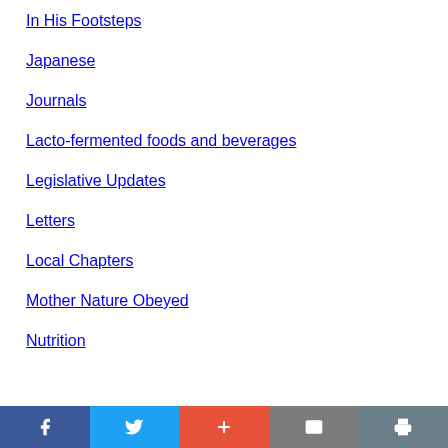In His Footsteps
Japanese
Journals
Lacto-fermented foods and beverages
Legislative Updates
Letters
Local Chapters
Mother Nature Obeyed
Nutrition
Social share bar: Facebook, Twitter, Plus, Mail, Print